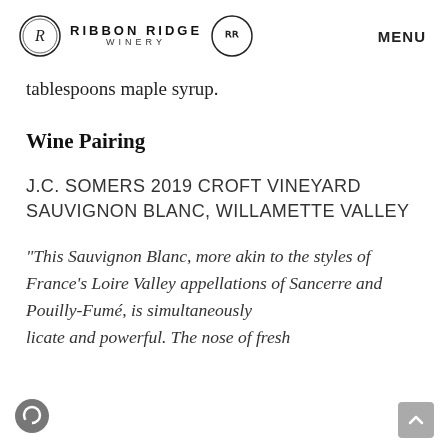RIBBON RIDGE WINERY  MENU
tablespoons maple syrup.
Wine Pairing
J.C. SOMERS 2019 CROFT VINEYARD SAUVIGNON BLANC, WILLAMETTE VALLEY
“This Sauvignon Blanc, more akin to the styles of France’s Loire Valley appellations of Sancerre and Pouilly-Fumé, is simultaneously delicate and powerful. The nose of fresh